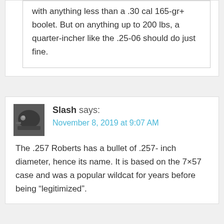with anything less than a .30 cal 165-gr+ boolet. But on anything up to 200 lbs, a quarter-incher like the .25-06 should do just fine.
Slash says:
November 8, 2019 at 9:07 AM
The .257 Roberts has a bullet of .257- inch diameter, hence its name. It is based on the 7×57 case and was a popular wildcat for years before being “legitimized”.